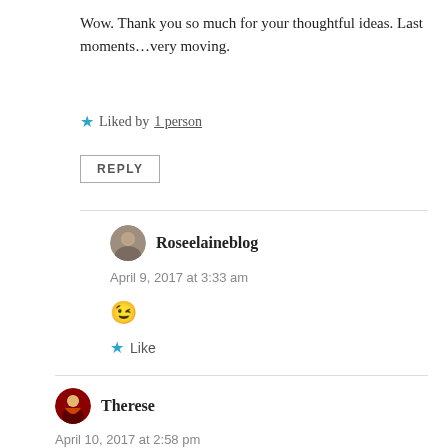Wow. Thank you so much for your thoughtful ideas. Last moments...very moving.
Liked by 1 person
REPLY
Roseelaineblog
April 9, 2017 at 3:33 am
😉
Like
Therese
April 10, 2017 at 2:58 pm
If I only had 30 seconds left, I would want to spend